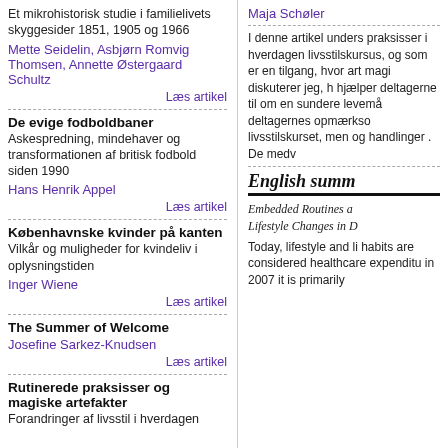Et mikrohistorisk studie i familielivets skyggesider 1851, 1905 og 1966
Mette Seidelin, Asbjørn Romvig Thomsen, Annette Østergaard Schultz
Læs artikel
De evige fodboldbaner
Askespredning, mindehaver og transformationen af britisk fodbold siden 1990
Hans Henrik Appel
Læs artikel
Københavnske kvinder på kanten
Vilkår og muligheder for kvindeliv i oplysningstiden
Inger Wiene
Læs artikel
The Summer of Welcome
Josefine Sarkez-Knudsen
Læs artikel
Rutinerede praksisser og magiske artefakter
Forandringer af livsstil i hverdagen
Maja Schøler
I denne artikel unders praksisser i hverdagen livsstilskursus, og som er en tilgang, hvor art magi diskuterer jeg, h hjælper deltagerne til om en sundere levemå deltagernes opmærkso livsstilskurset, men og handlinger . De medv
English summ
Embedded Routines a Lifestyle Changes in D
Today, lifestyle and li habits are considered healthcare expenditu in 2007 it is primarily